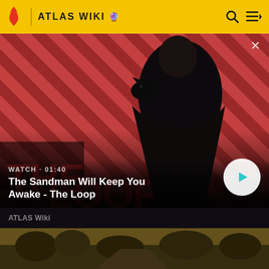ATLAS WIKI
[Figure (screenshot): Video thumbnail showing a dark-cloaked figure with a crow/raven on shoulder against red diagonal stripe background. Title card shows 'THE LOOP'. Overlaid text: WATCH · 01:40, The Sandman Will Keep You Awake - The Loop. Play button on right. ATLAS Wiki source label below.]
[Figure (screenshot): Partial thumbnail of a dark outdoor wilderness/post-apocalyptic scene with vegetation and path, olive/sepia toned.]